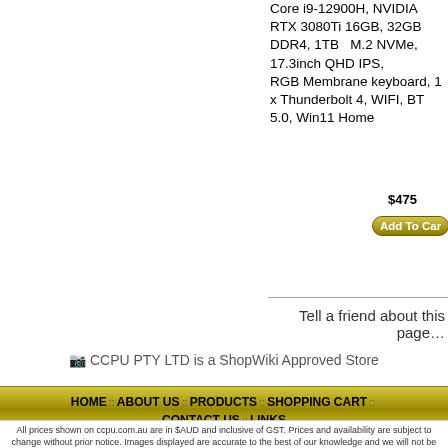Core i9-12900H, NVIDIA RTX 3080Ti 16GB, 32GB DDR4, 1TB M.2 NVMe, 17.3inch QHD IPS, RGB Membrane keyboard, 1 x Thunderbolt 4, WIFI, BT 5.0, Win11 Home
$475
Add To Car
Tell a friend about this page…
CCPU PTY LTD is a ShopWiki Approved Store
HOME :: ABOUT US :: PRODUCTS :: SHOPPING CART :: CONTACT US :: LINKS
All prices shown on ccpu.com.au are in $AUD and inclusive of GST. Prices and availability are subject to change without prior notice. Images displayed are accurate to the best of our knowledge and we will not be held responsible for purchases based soley on these images. All brands and names are trademarks of their respective companies. CCPU Computers ships to almost anywhere in Australia and Internationally.